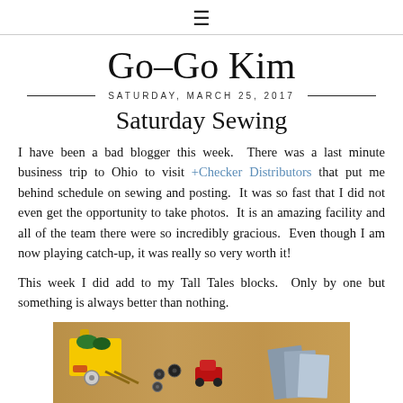≡
Go-Go Kim
SATURDAY, MARCH 25, 2017
Saturday Sewing
I have been a bad blogger this week.  There was a last minute business trip to Ohio to visit +Checker Distributors that put me behind schedule on sewing and posting.  It was so fast that I did not even get the opportunity to take photos.  It is an amazing facility and all of the team there were so incredibly gracious.  Even though I am now playing catch-up, it was really so very worth it!
This week I did add to my Tall Tales blocks.  Only by one but something is always better than nothing.
[Figure (photo): Photo of a wooden table with a yellow toy bin containing green pieces, orange pieces, scattered buttons, a small red toy car, and gray/blue fabric swatches]